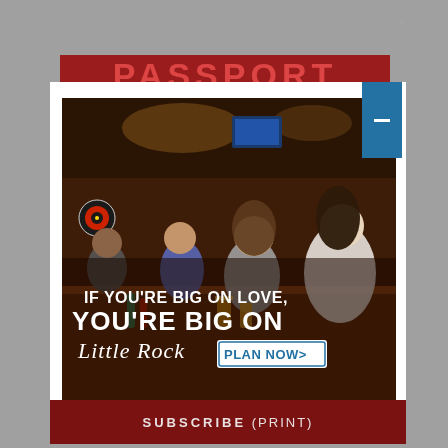[Figure (screenshot): Website screenshot showing a navigation bar with hamburger menu icon on the left and search icon on the right, on a gray background. Below is a partial red PASSPORT banner. A white modal/lightbox overlay contains an advertisement image for Little Rock tourism. The ad shows people drinking at a bar with text 'IF YOU'RE BIG ON LOVE, YOU'RE BIG ON Little Rock PLAN NOW>'. A blue close/collapse button appears on the right side of the modal. Below the modal is a dark red decorative section and a subscribe bar reading 'SUBSCRIBE (print)'.]